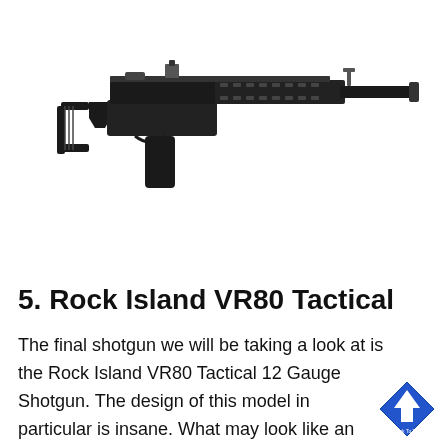[Figure (photo): Side-view photo of a Rock Island VR80 Tactical shotgun with AR-15-style design, black finish, folding stock, pistol grip, and long barrel with muzzle device on a white background.]
5. Rock Island VR80 Tactical
The final shotgun we will be taking a look at is the Rock Island VR80 Tactical 12 Gauge Shotgun. The design of this model in particular is insane. What may look like an AR-15, it's actually a tactical shotgun
[Figure (logo): Back to top button: a blue diamond/arrow shape with an upward arrow and small text 'Back To Top' below it.]